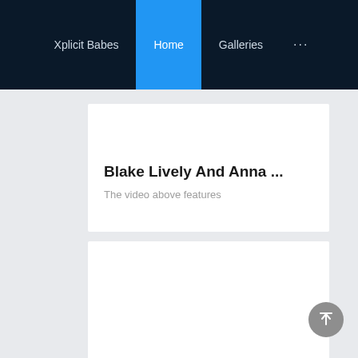Xplicit Babes | Home | Galleries | ...
Blake Lively And Anna ...
The video above features
[Figure (other): Empty white card / content area below the text card]